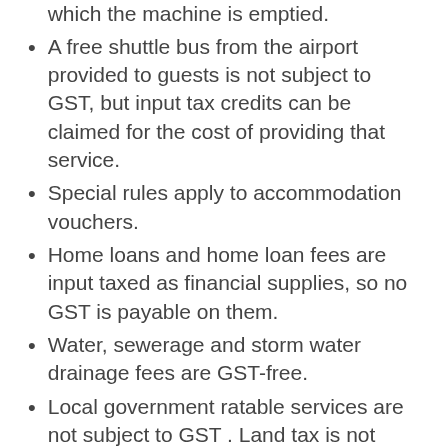which the machine is emptied.
A free shuttle bus from the airport provided to guests is not subject to GST, but input tax credits can be claimed for the cost of providing that service.
Special rules apply to accommodation vouchers.
Home loans and home loan fees are input taxed as financial supplies, so no GST is payable on them.
Water, sewerage and storm water drainage fees are GST-free.
Local government ratable services are not subject to GST . Land tax is not subject to GST.
Estate agents’ and solicitors’ fees and advertising costs on property transfers are subject to GST.